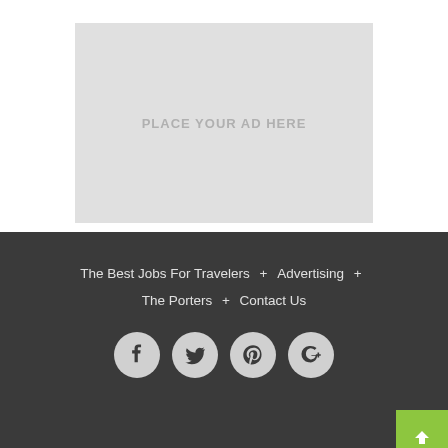[Figure (other): Advertisement placeholder box with text 'PLACE YOUR AD HERE' in light gray]
The Best Jobs For Travelers + Advertising + The Porters + Contact Us
[Figure (other): Social media icons: Facebook, Twitter, Pinterest, Google+]
[Figure (other): Back to top green button with upward arrow]